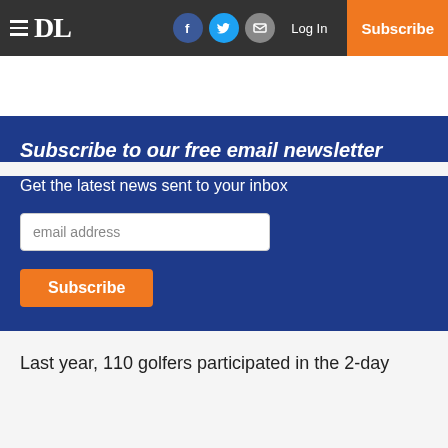≡ DL  [Facebook] [Twitter] [Email]  Log In  Subscribe
Subscribe to our free email newsletter
Get the latest news sent to your inbox
email address
Subscribe
Last year, 110 golfers participated in the 2-day